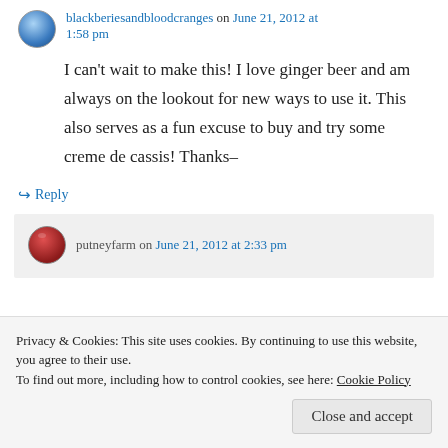blackberiesandbloodcranges on June 21, 2012 at 1:58 pm
I can't wait to make this! I love ginger beer and am always on the lookout for new ways to use it. This also serves as a fun excuse to buy and try some creme de cassis! Thanks–
↳ Reply
putneyfarm on June 21, 2012 at 2:33 pm
Privacy & Cookies: This site uses cookies. By continuing to use this website, you agree to their use. To find out more, including how to control cookies, see here: Cookie Policy
Close and accept